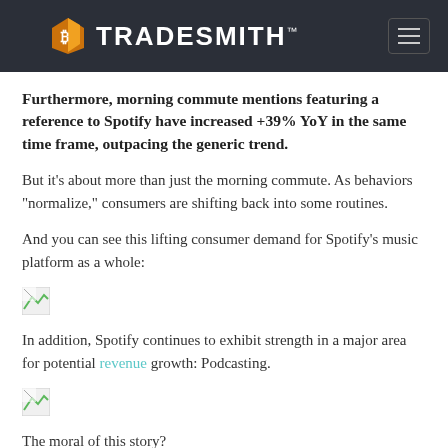TRADESMITH
Furthermore, morning commute mentions featuring a reference to Spotify have increased +39% YoY in the same time frame, outpacing the generic trend.
But it’s about more than just the morning commute. As behaviors “normalize,” consumers are shifting back into some routines.
And you can see this lifting consumer demand for Spotify’s music platform as a whole:
[Figure (other): Broken/missing image placeholder]
In addition, Spotify continues to exhibit strength in a major area for potential revenue growth: Podcasting.
[Figure (other): Broken/missing image placeholder]
The moral of this story?